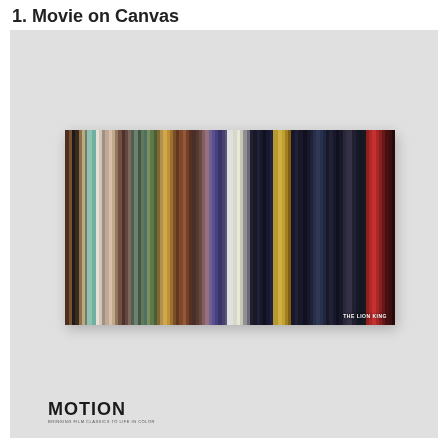1. Movie on Canvas
[Figure (photo): Two rectangular canvas artworks side by side showing vertical color bar stripes representing frames of The Lion King movie, labeled 'THE LION KING' in bottom right corner, displayed against a light gray background. Below the artwork is a 'MOTION' brand logo.]